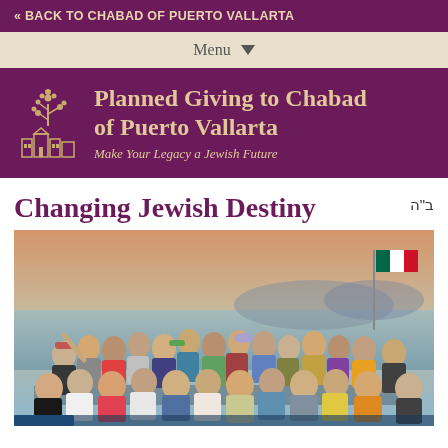« BACK TO CHABAD OF PUERTO VALLARTA
Menu
[Figure (logo): Planned Giving to Chabad of Puerto Vallarta banner with tree/building logo and tagline 'Make Your Legacy a Jewish Future']
Changing Jewish Destiny
ב"ה
[Figure (photo): Large group of people posing together on a boat or dock by the ocean, with mountains visible in the background and a Mexican flag. People are wearing colorful casual clothing.]